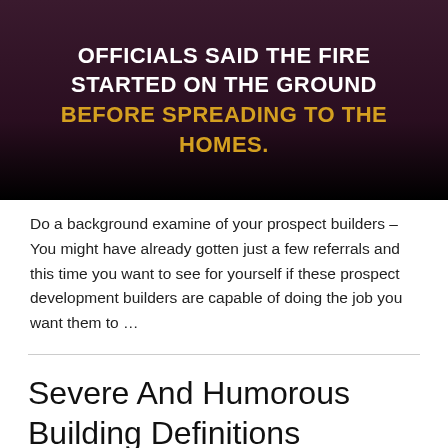[Figure (other): Dark maroon/purple background image with bold white uppercase text reading 'OFFICIALS SAID THE FIRE STARTED ON THE GROUND' and highlighted golden/yellow text 'BEFORE SPREADING TO THE HOMES.']
Do a background examine of your prospect builders – You might have already gotten just a few referrals and this time you want to see for yourself if these prospect development builders are capable of doing the job you want them to …
Severe And Humorous Building Definitions Contractors Take pleasure in Reading